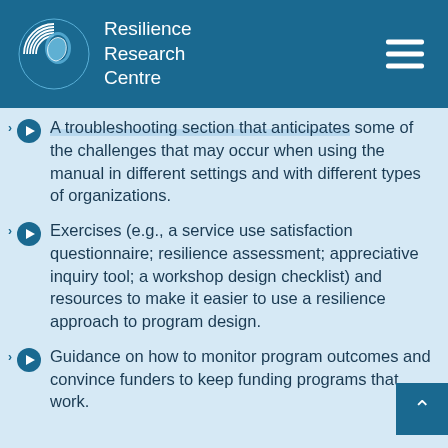Resilience Research Centre
A troubleshooting section that anticipates some of the challenges that may occur when using the manual in different settings and with different types of organizations.
Exercises (e.g., a service use satisfaction questionnaire; resilience assessment; appreciative inquiry tool; a workshop design checklist) and resources to make it easier to use a resilience approach to program design.
Guidance on how to monitor program outcomes and convince funders to keep funding programs that work.